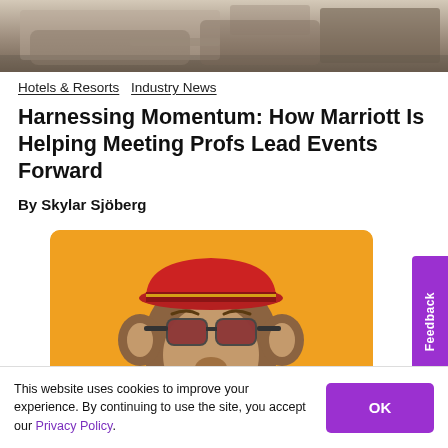[Figure (photo): Top portion of a hotel lobby or lounge interior photo, partially cropped at top of page]
Hotels & Resorts  Industry News
Harnessing Momentum: How Marriott Is Helping Meeting Profs Lead Events Forward
By Skylar Sjöberg
[Figure (illustration): Cartoon illustration of a monkey wearing a red bellhop cap and red sunglasses, grinning widely, on an orange background]
This website uses cookies to improve your experience. By continuing to use the site, you accept our Privacy Policy.